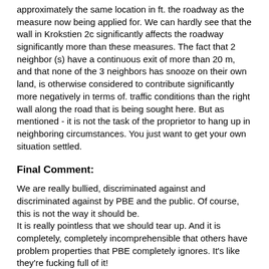approximately the same location in ft. the roadway as the measure now being applied for. We can hardly see that the wall in Krokstien 2c significantly affects the roadway significantly more than these measures. The fact that 2 neighbor (s) have a continuous exit of more than 20 m, and that none of the 3 neighbors has snooze on their own land, is otherwise considered to contribute significantly more negatively in terms of. traffic conditions than the right wall along the road that is being sought here. But as mentioned - it is not the task of the proprietor to hang up in neighboring circumstances. You just want to get your own situation settled.
Final Comment:
We are really bullied, discriminated against and discriminated against by PBE and the public. Of course, this is not the way it should be.
It is really pointless that we should tear up. And it is completely, completely incomprehensible that others have problem properties that PBE completely ignores. It's like they're fucking full of it!